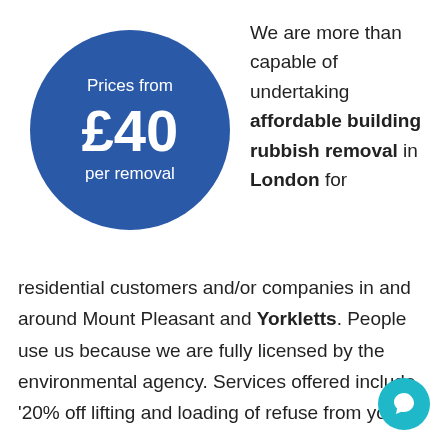[Figure (infographic): Blue circle badge with white text reading 'Prices from £40 per removal']
We are more than capable of undertaking affordable building rubbish removal in London for residential customers and/or companies in and around Mount Pleasant and Yorkletts. People use us because we are fully licensed by the environmental agency. Services offered include '20% off lifting and loading of refuse from your